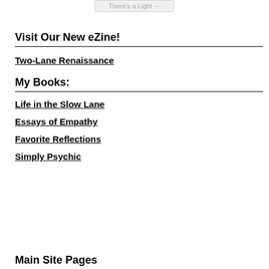[Figure (other): Truncated button or UI element showing 'There's a Light' with an arrow, partially visible at top of page]
Visit Our New eZine!
Two-Lane Renaissance
My Books:
Life in the Slow Lane
Essays of Empathy
Favorite Reflections
Simply Psychic
Main Site Pages